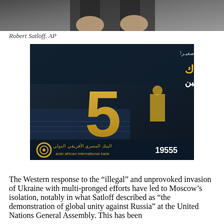[Figure (photo): Partial photo of a person in a suit with hands visible, cropped at the top of the page]
Robert Satloff. AP
[Figure (other): Arab African International Bank advertisement in Arabic with text about small business loans up to 5 million over 5 years, showing industrial workers and the number 19555]
The Western response to the “illegal” and unprovoked invasion of Ukraine with multi-pronged efforts have led to Moscow’s isolation, notably in what Satloff described as “the demonstration of global unity against Russia” at the United Nations General Assembly. This has been